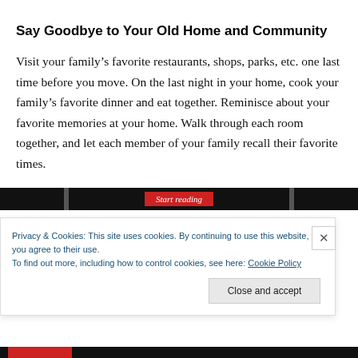Say Goodbye to Your Old Home and Community
Visit your family's favorite restaurants, shops, parks, etc. one last time before you move. On the last night in your home, cook your family's favorite dinner and eat together. Reminisce about your favorite memories at your home. Walk through each room together, and let each member of your family recall their favorite times.
[Figure (other): A dark banner bar with 'Start reading' button in red center]
Privacy & Cookies: This site uses cookies. By continuing to use this website, you agree to their use.
To find out more, including how to control cookies, see here: Cookie Policy